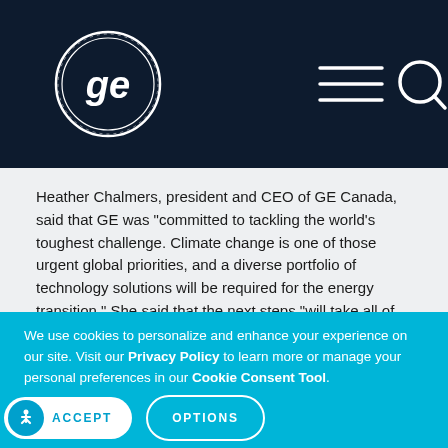[Figure (logo): GE (General Electric) circular logo in white on dark navy header bar with hamburger menu icon and search icon]
Heather Chalmers, president and CEO of GE Canada, said that GE was “committed to tackling the world’s toughest challenge. Climate change is one of those urgent global priorities, and a diverse portfolio of technology solutions will be required for the energy transition.” She said that the next steps “will take all of us — governments, energy producers, OEMs, utilities, research institutions and other stakeholders
We use cookies to personalize and enhance your experience on our site. Visit our Privacy Policy to learn more or manage your personal preferences in our Cookie Consent Tool.